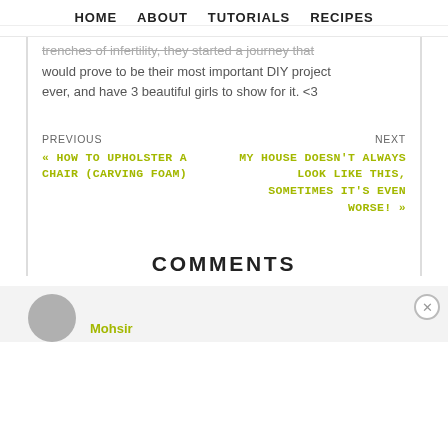HOME   ABOUT   TUTORIALS   RECIPES
trenches of infertility, they started a journey that would prove to be their most important DIY project ever, and have 3 beautiful girls to show for it. <3
PREVIOUS
« HOW TO UPHOLSTER A CHAIR (CARVING FOAM)
NEXT
MY HOUSE DOESN'T ALWAYS LOOK LIKE THIS, SOMETIMES IT'S EVEN WORSE! »
COMMENTS
Mohsir